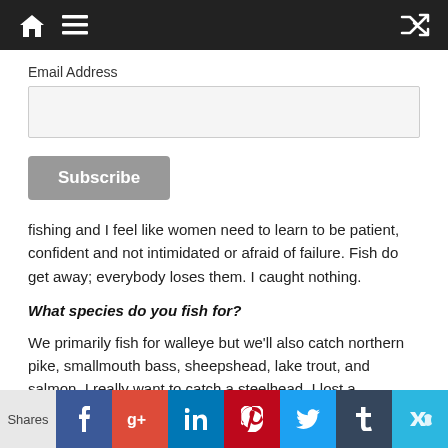Navigation bar with home, menu, and shuffle icons
Email Address
Subscribe
fishing and I feel like women need to learn to be patient, confident and not intimidated or afraid of failure. Fish do get away; everybody loses them. I caught nothing.
What species do you fish for?
We primarily fish for walleye but we'll also catch northern pike, smallmouth bass, sheepshead, lake trout, and salmon. I really want to catch a steelhead. I lost a
Shares | Facebook | Google+ | LinkedIn | Pinterest | Twitter | Tumblr | (crown)